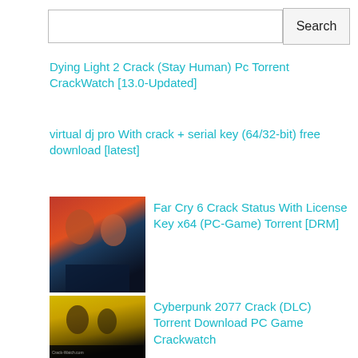[Figure (screenshot): Search bar with input field and Search button]
Dying Light 2 Crack (Stay Human) Pc Torrent CrackWatch [13.0-Updated]
virtual dj pro With crack + serial key (64/32-bit) free download [latest]
[Figure (photo): Far Cry 6 game cover art showing two characters]
Far Cry 6 Crack Status With License Key x64 (PC-Game) Torrent [DRM]
[Figure (photo): Cyberpunk 2077 game cover art with yellow background]
Cyberpunk 2077 Crack (DLC) Torrent Download PC Game Crackwatch